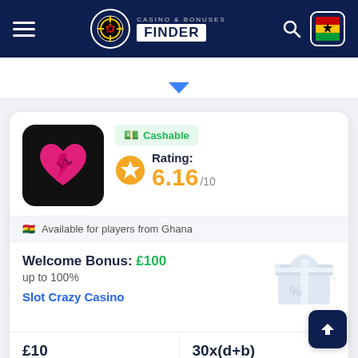CASINO & BONUSES FINDER
[Figure (screenshot): Casino card for Slot Crazy Casino showing Cashable badge, rating 6.16/10, Ghana availability, Welcome Bonus £100 up to 100%, Min Dep £10, Wager 30x(d+b), UKGC license]
Cashable
Rating: 6.16/10
Available for players from Ghana
Welcome Bonus: £100 up to 100%
Slot Crazy Casino
£10 Min Dep
30x(d+b) Wager
UKGC